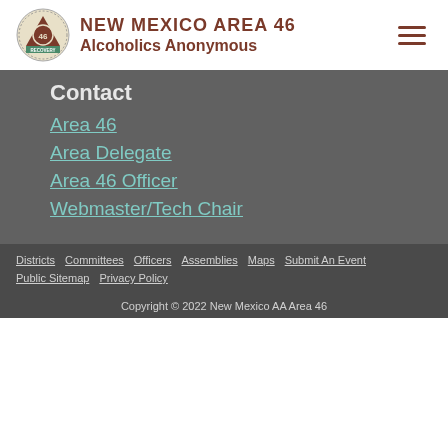NEW MEXICO AREA 46 Alcoholics Anonymous
Contact
Area 46
Area Delegate
Area 46 Officer
Webmaster/Tech Chair
Districts | Committees | Officers | Assemblies | Maps | Submit An Event | Public Sitemap | Privacy Policy | Copyright © 2022 New Mexico AA Area 46